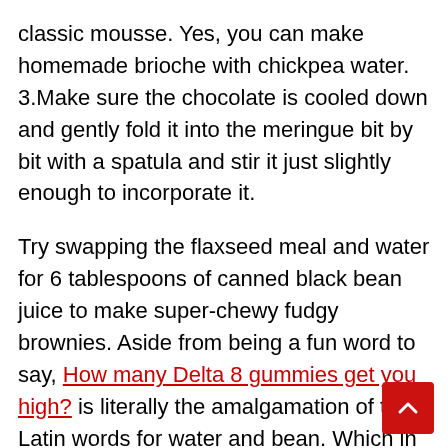classic mousse. Yes, you can make homemade brioche with chickpea water. 3.Make sure the chocolate is cooled down and gently fold it into the meringue bit by bit with a spatula and stir it just slightly enough to incorporate it.
Try swapping the flaxseed meal and water for 6 tablespoons of canned black bean juice to make super-chewy fudgy brownies. Aside from being a fun word to say, How many Delta 8 gummies get you high? is literally the amalgamation of the Latin words for water and bean. Which in real talk translates to the liquid that remains after boiling legumes. Chocolate sponge, ice cream and meringue – how can you say no to this godly combination? Learn more about this magic formula and its origins,